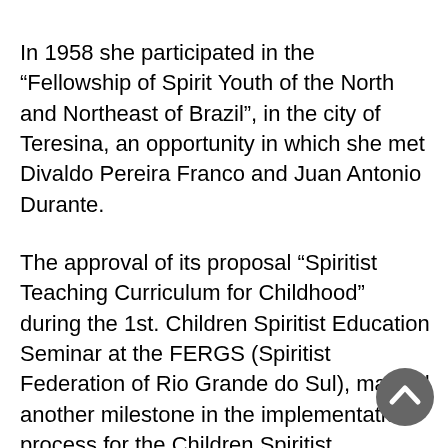In 1958 she participated in the “Fellowship of Spirit Youth of the North and Northeast of Brazil”, in the city of Teresina, an opportunity in which she met Divaldo Pereira Franco and Juan Antonio Durante.
The approval of its proposal “Spiritist Teaching Curriculum for Childhood” during the 1st. Children Spiritist Education Seminar at the FERGS (Spiritist Federation of Rio Grande do Sul), marked another milestone in the implementation process for the Children Spiritist Education in Brazil.